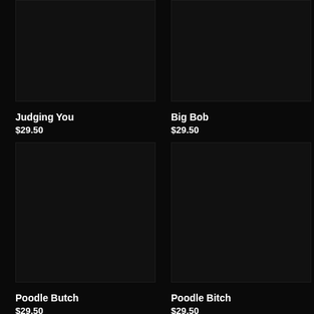[Figure (photo): Dark/black product image for Judging You]
Judging You
$29.50
[Figure (photo): Dark/black product image for Big Bob]
Big Bob
$29.50
[Figure (photo): Dark/black product image for Poodle Butch]
Poodle Butch
$29.50
[Figure (photo): Dark/black product image for Poodle Bitch]
Poodle Bitch
$29.50